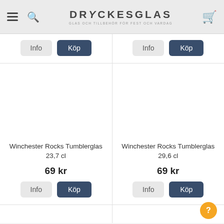DRYCKESGLAS - GLAS OCH TILLBEHÖR FÖR FEST OCH VARDAG
[Figure (screenshot): Partial product cards with Info and Köp buttons at top]
[Figure (photo): Winchester Rocks Tumblerglas 23,7 cl product image (blank/white)]
Winchester Rocks Tumblerglas 23,7 cl
69 kr
[Figure (photo): Winchester Rocks Tumblerglas 29,6 cl product image (blank/white)]
Winchester Rocks Tumblerglas 29,6 cl
69 kr